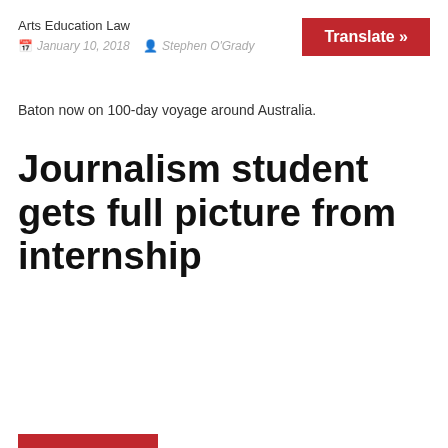Arts Education Law
January 10, 2018   Stephen O'Grady
[Figure (other): Red Translate button]
Baton now on 100-day voyage around Australia.
Journalism student gets full picture from internship